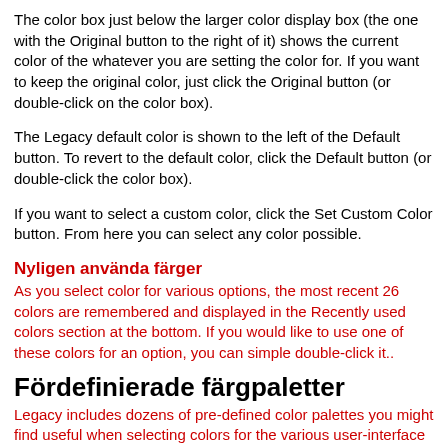The color box just below the larger color display box (the one with the Original button to the right of it) shows the current color of the whatever you are setting the color for.  If you want to keep the original color, just click the Original button (or double-click on the color box).
The Legacy default color is shown to the left of the Default button.  To revert to the default color, click the Default button (or double-click the color box).
If you want to select a custom color, click the Set Custom Color button.  From here you can select any color possible.
Nyligen använda färger
As you select color for various options, the most recent 26 colors are remembered and displayed in the Recently used colors section at the bottom.  If you would like to use one of these colors for an option, you can simple double-click it..
Fördefinierade färgpaletter
Legacy includes dozens of pre-defined color palettes you might find useful when selecting colors for the various user-interface elements of the program.  To display one of the color palettes, click the down arrow to the right of the combo box at the top of the Color Palette section, and...